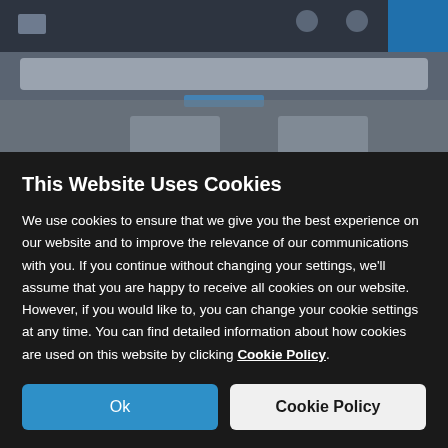[Figure (screenshot): Blurred website background showing a dark navigation bar, search bar, and content area cards]
This Website Uses Cookies
We use cookies to ensure that we give you the best experience on our website and to improve the relevance of our communications with you. If you continue without changing your settings, we'll assume that you are happy to receive all cookies on our website. However, if you would like to, you can change your cookie settings at any time. You can find detailed information about how cookies are used on this website by clicking Cookie Policy.